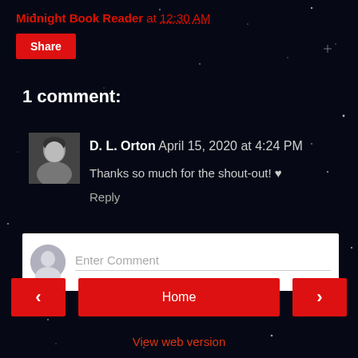Midnight Book Reader at 12:30 AM
Share
1 comment:
[Figure (photo): Avatar photo of D. L. Orton — a woman with short gray hair]
D. L. Orton  April 15, 2020 at 4:24 PM
Thanks so much for the shout-out! ♥
Reply
Enter Comment
< Home >
View web version